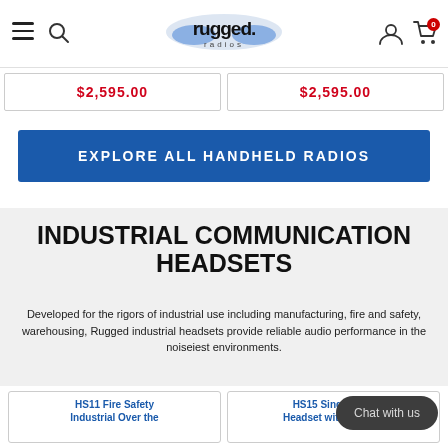Rugged Radios - navigation bar with hamburger menu, search, logo, account, cart (0)
$2,595.00  $2,595.00
EXPLORE ALL HANDHELD RADIOS
INDUSTRIAL COMMUNICATION HEADSETS
Developed for the rigors of industrial use including manufacturing, fire and safety, warehousing, Rugged industrial headsets provide reliable audio performance in the noiseiest environments.
HS11 Fire Safety Industrial Over the
HS15 Single Side Headset with Push to
Chat with us